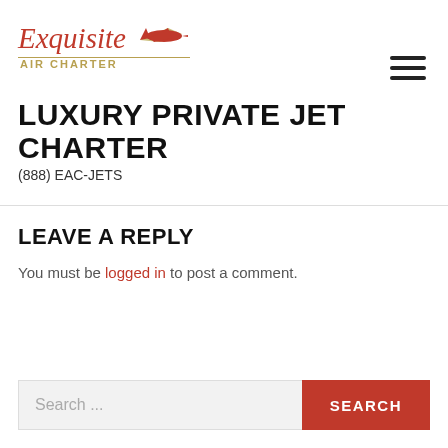[Figure (logo): Exquisite Air Charter logo with red cursive text, gold 'AIR CHARTER' text, and red jet plane illustration]
LUXURY PRIVATE JET CHARTER
(888) EAC-JETS
LEAVE A REPLY
You must be logged in to post a comment.
Search ...